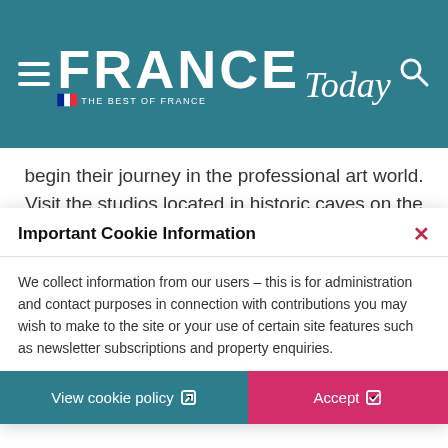FRANCE Today — THE BEST OF FRANCE
begin their journey in the professional art world. Visit the studios located in historic caves on the
Important Cookie Information
We collect information from our users – this is for administration and contact purposes in connection with contributions you may wish to make to the site or your use of certain site features such as newsletter subscriptions and property enquiries.
View cookie policy
Accept